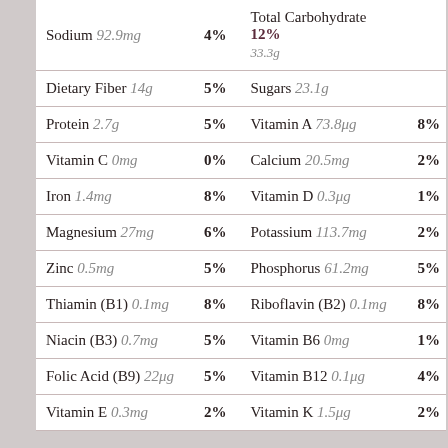| Nutrient (left) | % DV (left) | Nutrient (right) | % DV (right) |
| --- | --- | --- | --- |
| Sodium 92.9mg | 4% | Total Carbohydrate 12% 33.3g | 12% |
| Dietary Fiber 14g | 5% | Sugars 23.1g |  |
| Protein 2.7g | 5% | Vitamin A 73.8μg | 8% |
| Vitamin C 0mg | 0% | Calcium 20.5mg | 2% |
| Iron 1.4mg | 8% | Vitamin D 0.3μg | 1% |
| Magnesium 27mg | 6% | Potassium 113.7mg | 2% |
| Zinc 0.5mg | 5% | Phosphorus 61.2mg | 5% |
| Thiamin (B1) 0.1mg | 8% | Riboflavin (B2) 0.1mg | 8% |
| Niacin (B3) 0.7mg | 5% | Vitamin B6 0mg | 1% |
| Folic Acid (B9) 22μg | 5% | Vitamin B12 0.1μg | 4% |
| Vitamin E 0.3mg | 2% | Vitamin K 1.5μg | 2% |